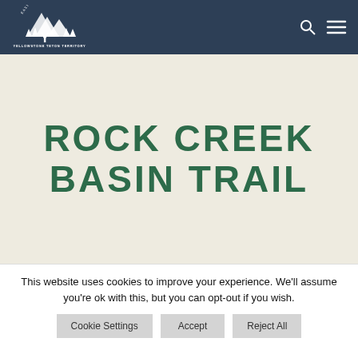[Figure (logo): Eastern Idaho Yellowstone Teton Territory logo — mountain/tree silhouette with Y letter, white on dark blue background]
ROCK CREEK BASIN TRAIL
This website uses cookies to improve your experience. We'll assume you're ok with this, but you can opt-out if you wish.
Cookie Settings
Accept
Reject All